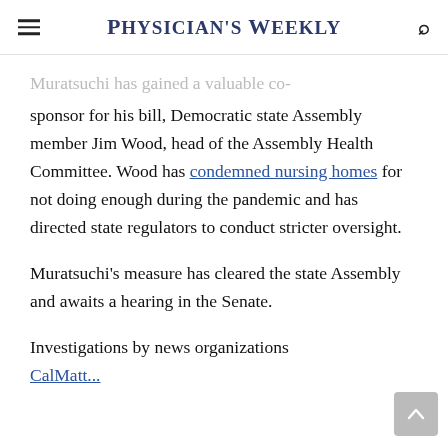Physician's Weekly
Muratsuchi has gained a valuable co-sponsor for his bill, Democratic state Assembly member Jim Wood, head of the Assembly Health Committee. Wood has condemned nursing homes for not doing enough during the pandemic and has directed state regulators to conduct stricter oversight.
Muratsuchi's measure has cleared the state Assembly and awaits a hearing in the Senate.
Investigations by news organizations